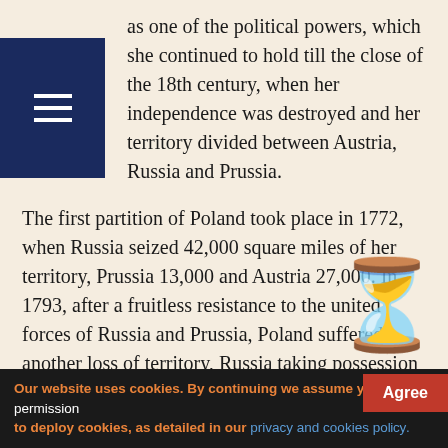[Figure (other): Dark blue hamburger menu icon overlay on top-left of page]
as one of the political powers, which she continued to hold till the close of the 18th century, when her independence was destroyed and her territory divided between Austria, Russia and Prussia.

The first partition of Poland took place in 1772, when Russia seized 42,000 square miles of her territory, Prussia 13,000 and Austria 27,000. In 1793, after a fruitless resistance to the united forces of Russia and Prussia, Poland suffered another loss of territory, Russia taking possession of 96,000 square miles and Prussia of 22,000. The Poles became desperate, and there was a general uprising of the people against the invaders. The Prussians were compelled to retreat to their own country, and the Russians we...
[Figure (illustration): Hourglass emoji overlaid on bottom-right area of the main text]
Our website uses cookies. By continuing we assume your permission to deploy cookies, as detailed in our privacy and cookies policy.